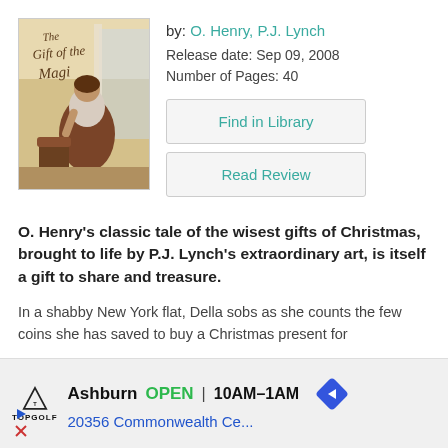[Figure (illustration): Book cover of 'The Gift of the Magi' by O. Henry illustrated by P.J. Lynch, showing a woman in a long brown dress bending over in an interior scene]
by: O. Henry, P.J. Lynch
Release date: Sep 09, 2008
Number of Pages: 40
Find in Library
Read Review
O. Henry's classic tale of the wisest gifts of Christmas, brought to life by P.J. Lynch's extraordinary art, is itself a gift to share and treasure.
In a shabby New York flat, Della sobs as she counts the few coins she has saved to buy a Christmas present for
[Figure (other): Advertisement for Topgolf at Ashburn location showing OPEN 10AM-1AM and address 20356 Commonwealth Ce...]